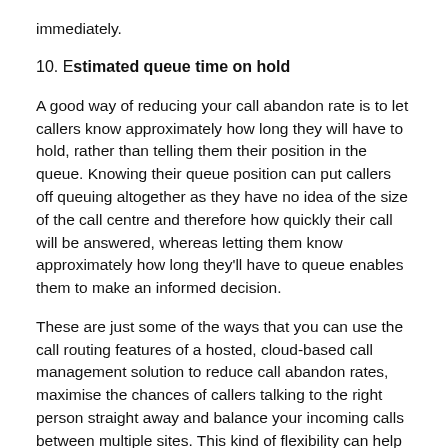immediately.
10. Estimated queue time on hold
A good way of reducing your call abandon rate is to let callers know approximately how long they will have to hold, rather than telling them their position in the queue. Knowing their queue position can put callers off queuing altogether as they have no idea of the size of the call centre and therefore how quickly their call will be answered, whereas letting them know approximately how long they'll have to queue enables them to make an informed decision.
These are just some of the ways that you can use the call routing features of a hosted, cloud-based call management solution to reduce call abandon rates, maximise the chances of callers talking to the right person straight away and balance your incoming calls between multiple sites. This kind of flexibility can help you improve the efficiency and effectiveness of your contact centre and customer service substantially